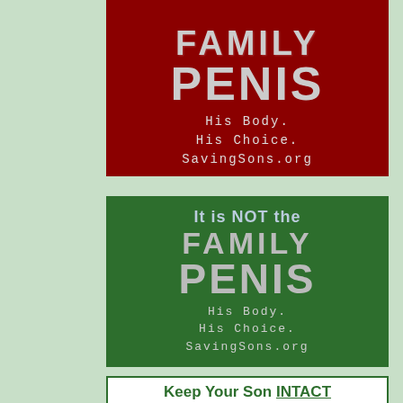[Figure (illustration): Red background banner (partially cropped at top) with white distressed text reading 'FAMILY PENIS His Body. His Choice. SavingSons.org']
[Figure (illustration): Dark green background banner with white distressed text reading 'It is NOT the FAMILY PENIS His Body. His Choice. SavingSons.org']
[Figure (illustration): White background banner with green bold text reading 'Keep Your Son INTACT and your grandson will' (partially cropped at bottom)]